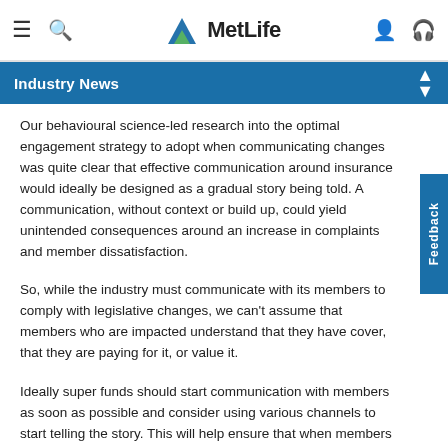MetLife
Industry News
Our behavioural science-led research into the optimal engagement strategy to adopt when communicating changes was quite clear that effective communication around insurance would ideally be designed as a gradual story being told. A communication, without context or build up, could yield unintended consequences around an increase in complaints and member dissatisfaction.
So, while the industry must communicate with its members to comply with legislative changes, we can't assume that members who are impacted understand that they have cover, that they are paying for it, or value it.
Ideally super funds should start communication with members as soon as possible and consider using various channels to start telling the story. This will help ensure that when members are given the choice, they are better prepared